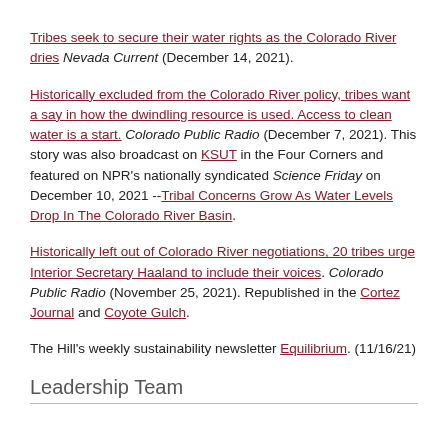Tribes seek to secure their water rights as the Colorado River dries Nevada Current (December 14, 2021).
Historically excluded from the Colorado River policy, tribes want a say in how the dwindling resource is used. Access to clean water is a start. Colorado Public Radio (December 7, 2021). This story was also broadcast on KSUT in the Four Corners and featured on NPR's nationally syndicated Science Friday on December 10, 2021 --Tribal Concerns Grow As Water Levels Drop In The Colorado River Basin.
Historically left out of Colorado River negotiations, 20 tribes urge Interior Secretary Haaland to include their voices. Colorado Public Radio (November 25, 2021). Republished in the Cortez Journal and Coyote Gulch.
The Hill's weekly sustainability newsletter Equilibrium. (11/16/21)
Leadership Team